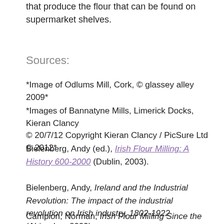that produce the flour that can be found on supermarket shelves.
Sources:
*Image of Odlums Mill, Cork, © glassey alley 2009*
*Images of Bannatyne Mills, Limerick Docks, Kieran Clancy © 20/7/12 Copyright Kieran Clancy / PicSure Ltd © 2012*
Bielenberg, Andy (ed.), Irish Flour Milling: A History 600-2000 (Dublin, 2003).
Bielenberg, Andy, Ireland and the Industrial Revolution: The impact of the industrial revolution on Irish industry, 1802-1922 (Abingdon, 2009).
Campion, Norman, Irish Flour Milling Since the Second...